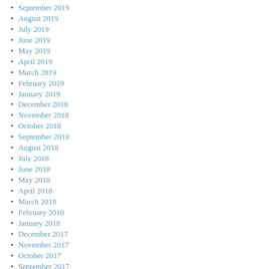September 2019
August 2019
July 2019
June 2019
May 2019
April 2019
March 2019
February 2019
January 2019
December 2018
November 2018
October 2018
September 2018
August 2018
July 2018
June 2018
May 2018
April 2018
March 2018
February 2018
January 2018
December 2017
November 2017
October 2017
September 2017
August 2017
July 2017